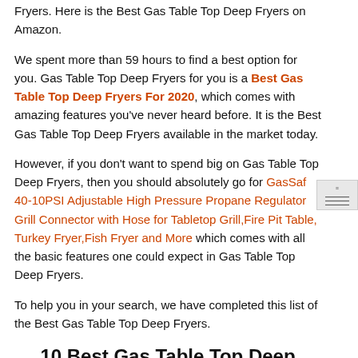Fryers. Here is the Best Gas Table Top Deep Fryers on Amazon.
We spent more than 59 hours to find a best option for you. Gas Table Top Deep Fryers for you is a Best Gas Table Top Deep Fryers For 2020, which comes with amazing features you've never heard before. It is the Best Gas Table Top Deep Fryers available in the market today.
However, if you don't want to spend big on Gas Table Top Deep Fryers, then you should absolutely go for GasSaf 40-10PSI Adjustable High Pressure Propane Regulator Grill Connector with Hose for Tabletop Grill,Fire Pit Table, Turkey Fryer,Fish Fryer and More which comes with all the basic features one could expect in Gas Table Top Deep Fryers.
To help you in your search, we have completed this list of the Best Gas Table Top Deep Fryers.
10 Best Gas Table Top Deep Fryers